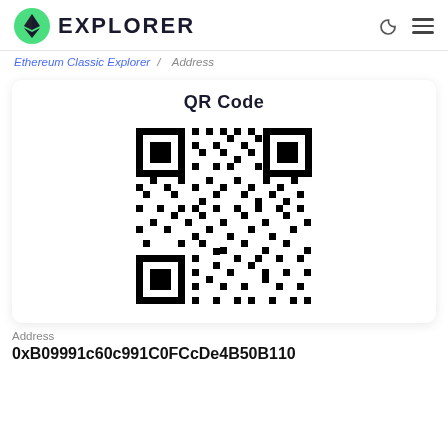EXPLORER
Ethereum Classic Explorer / Address
QR Code
[Figure (other): QR code for Ethereum Classic address 0xB09991c60c991C0FCcDe4B50B110]
Address
0xB09991c60c991C0FCcDe4B50B110